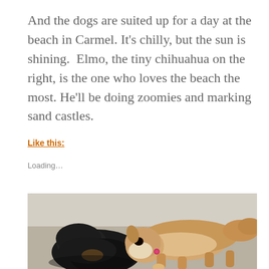And the dogs are suited up for a day at the beach in Carmel. It's chilly, but the sun is shining.  Elmo, the tiny chihuahua on the right, is the one who loves the beach the most. He'll be doing zoomies and marking sand castles.
Like this:
Loading...
[Figure (photo): Two dogs lying on a grey/beige couch or surface. On the left is a small black dog (seen from above/behind). In the center-right is a tan/fawn chihuahua or similar small dog facing left, with a pink collar tag visible.]